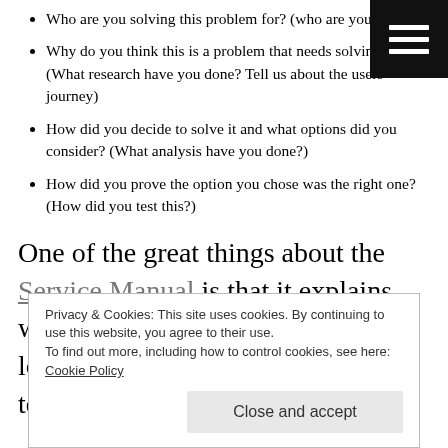Who are you solving this problem for? (who are your users?)
Why do you think this is a problem that needs solving? (What research have you done? Tell us about the users journey)
How did you decide to solve it and what options did you consider? (What analysis have you done?)
How did you prove the option you chose was the right one? (How did you test this?)
One of the great things about the Service Manual is that it explains what each delivery phase should look like, and what the assessment team are considering at
Privacy & Cookies: This site uses cookies. By continuing to use this website, you agree to their use.
To find out more, including how to control cookies, see here: Cookie Policy

Close and accept